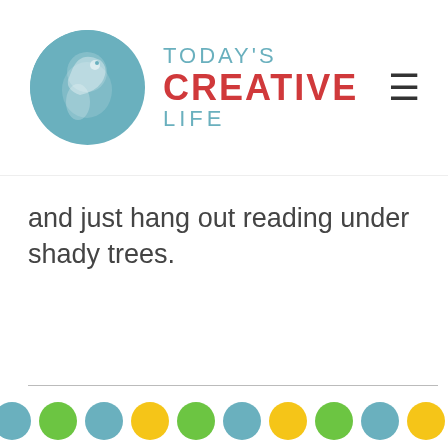TODAY'S CREATIVE LIFE
and just hang out reading under shady trees.
[Figure (illustration): Summer Reading Log printable preview with colorful polka dot border (green, teal, yellow), a silhouette of a child reading, title 'SUMMER READING LOG', NAME field, DATE field, and 'READING' text visible, with a yellow decorative element.]